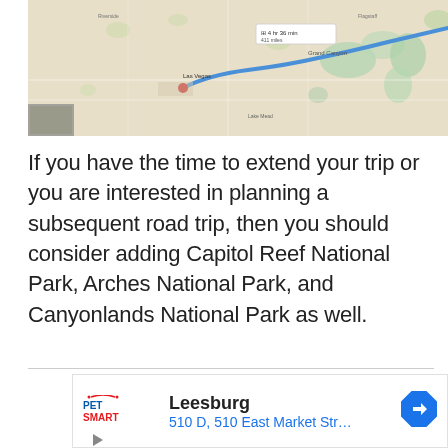[Figure (map): Google Maps screenshot showing a road trip route (blue line) from Las Vegas area heading northeast, passing through Utah. The route is highlighted in blue across a tan/beige map background with green areas indicating parks/terrain.]
If you have the time to extend your trip or you are interested in planning a subsequent road trip, then you should consider adding Capitol Reef National Park, Arches National Park, and Canyonlands National Park as well.
[Figure (infographic): PetSmart advertisement banner showing PetSmart logo, 'Leesburg' heading, '510 D, 510 East Market Str...' address, and a blue diamond navigation arrow icon.]